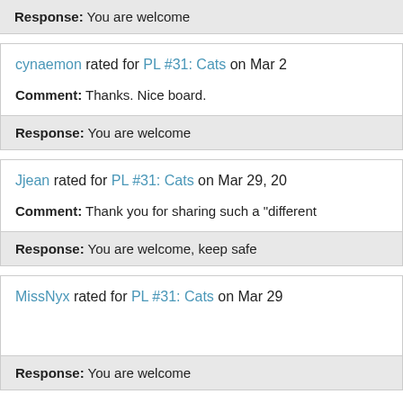Response: You are welcome
cynaemon rated for PL #31: Cats on Mar 2
Comment: Thanks. Nice board.
Response: You are welcome
Jjean rated for PL #31: Cats on Mar 29, 20
Comment: Thank you for sharing such a "different
Response: You are welcome, keep safe
MissNyx rated for PL #31: Cats on Mar 29
Response: You are welcome